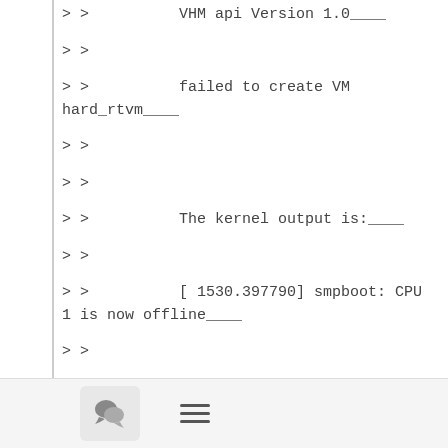>>          VHM api Version 1.0____
>>
>>          failed to create VM hard_rtvm____
>>
>>
>>          The kernel output is:____
>>
>>          [ 1530.397790] smpboot: CPU 1 is now offline____
>>
>>          [ 1530.398653] vhm: try to offline cpu 1 with lapicid 2____
>>
>>          [ 1530.409744] smpboot: CPU 2 is now